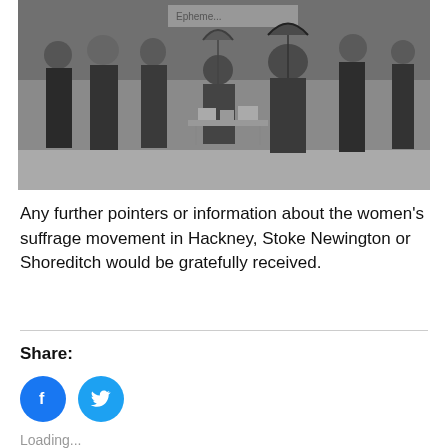[Figure (photo): Historical black-and-white photograph showing a group of women and one man standing outside a building, likely at a suffrage meeting or event. Women are dressed in early 20th century attire with large hats. Some hold items, and there is a table with an umbrella in the center.]
Any further pointers or information about the women's suffrage movement in Hackney, Stoke Newington or Shoreditch would be gratefully received.
Share:
[Figure (other): Social media share buttons: Facebook (blue circle with 'f' icon) and Twitter (cyan circle with bird icon)]
Loading...